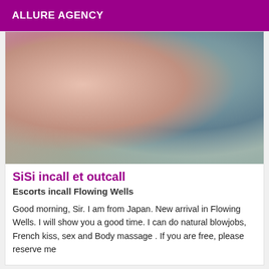ALLURE AGENCY
[Figure (photo): Close-up photo of a person wearing a pink top and grey/green fabric, showing arms and torso]
SiSi incall et outcall
Escorts incall Flowing Wells
Good morning, Sir. I am from Japan. New arrival in Flowing Wells. I will show you a good time. I can do natural blowjobs, French kiss, sex and Body massage . If you are free, please reserve me